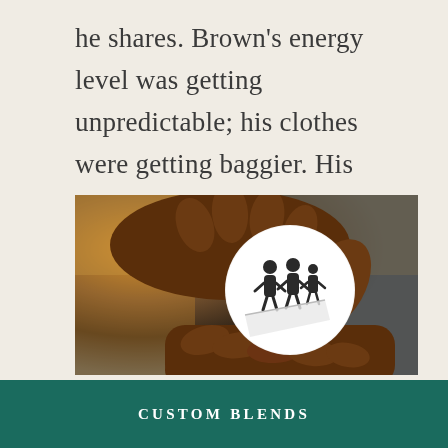he shares. Brown's energy level was getting unpredictable; his clothes were getting baggier. His students connected the dots.
[Figure (photo): Close-up of dark-skinned hands holding a small round white button or tag with dark silhouette illustrations of figures printed on it. Background is blurred with warm amber and grey tones.]
CUSTOM BLENDS